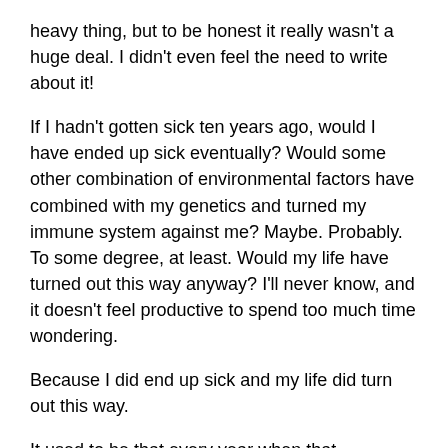heavy thing, but to be honest it really wasn't a huge deal. I didn't even feel the need to write about it!
If I hadn't gotten sick ten years ago, would I have ended up sick eventually? Would some other combination of environmental factors have combined with my genetics and turned my immune system against me? Maybe. Probably. To some degree, at least. Would my life have turned out this way anyway? I'll never know, and it doesn't feel productive to spend too much time wondering.
Because I did end up sick and my life did turn out this way.
It used to be that every year when that anniversary came around, I would think wow I can't believe it's been three...five...eight years and I'm STILL sick.
But now? Now I'm at a place where I just think well of course I'm still sick. This is what my life is. An existence built around illness is really the only existence I'm familiar with anymore. It's certainly the only